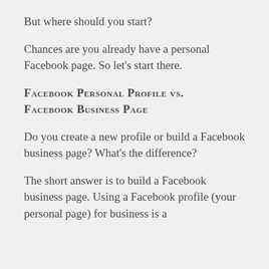But where should you start?
Chances are you already have a personal Facebook page. So let's start there.
Facebook Personal Profile vs. Facebook Business Page
Do you create a new profile or build a Facebook business page? What's the difference?
The short answer is to build a Facebook business page. Using a Facebook profile (your personal page) for business is a